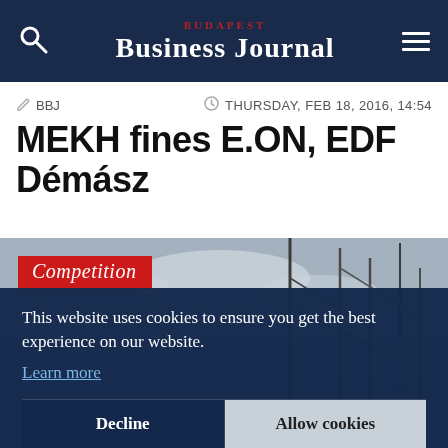BUDAPEST BUSINESS JOURNAL
BBJ  THURSDAY, FEB 18, 2016, 14:54
MEKH fines E.ON, EDF Démász
[Figure (photo): Sailboat masts and rigging against a cloudy sky, with a dark navy cookie consent overlay. A red 'Competition' tag is visible in the upper left of the photo.]
This website uses cookies to ensure you get the best experience on our website. Learn more
Decline  Allow cookies